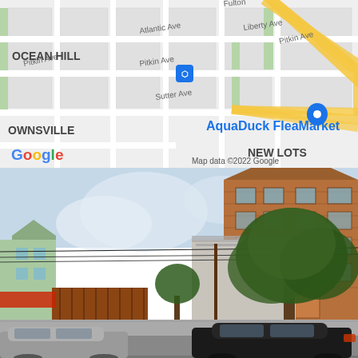[Figure (map): Google Maps screenshot showing the area of Brownsville / New Lots neighborhood in Brooklyn, NY. Shows street grid with Atlantic Ave, Liberty Ave, Pitkin Ave, Sutter Ave, Fulton St. AquaDuck FleaMarket location is pinned. Google logo visible bottom left. Map data ©2022 Google credit bottom right.]
[Figure (photo): Street-level photo (Google Street View style) showing a brick apartment building several stories tall, a large tree in front, green house to the left, wooden fence, parked cars on the street including a black SUV.]